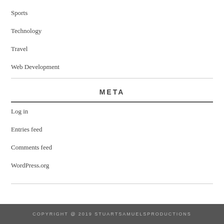Sports
Technology
Travel
Web Development
META
Log in
Entries feed
Comments feed
WordPress.org
COPYRIGHT @ 2019 STUARTSAMUELSPRODUCTIONS